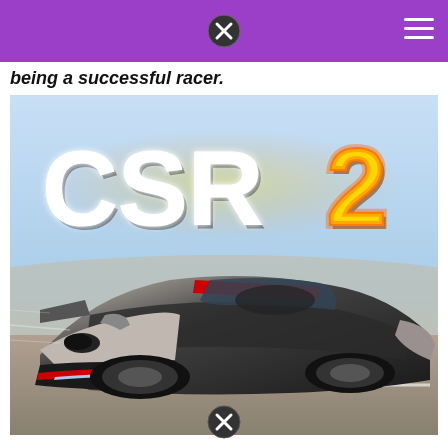being a successful racer.
[Figure (illustration): CSR2 mobile racing game promotional image showing a silver and black Pagani Huayra supercar with red accents driving on a highway, with the CSR2 logo (white letters with yellow number 2) displayed prominently at the top of the image.]